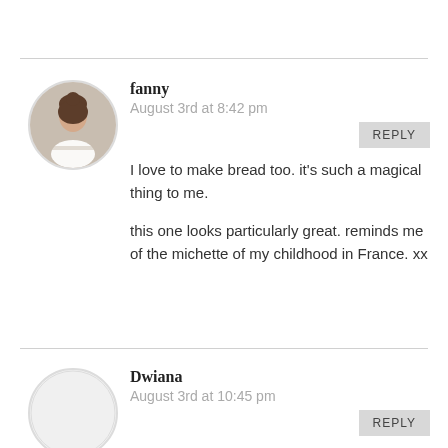[Figure (photo): Circular avatar photo of a woman named Fanny in a white top working at a table]
fanny
August 3rd at 8:42 pm
REPLY
I love to make bread too. it's such a magical thing to me.

this one looks particularly great. reminds me of the michette of my childhood in France. xx
[Figure (illustration): Circular placeholder avatar (empty/grey) for user Dwiana]
Dwiana
August 3rd at 10:45 pm
REPLY